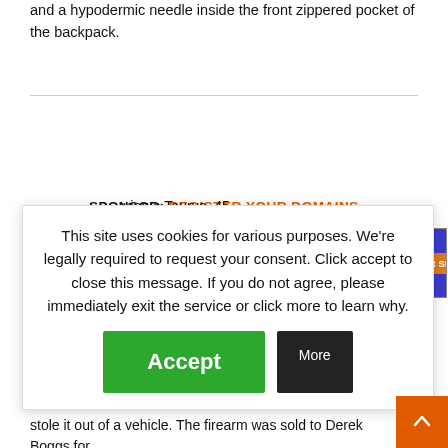and a hypodermic needle inside the front zippered pocket of the backpack.
[Figure (screenshot): Sponsor advertisement banner: 'SPONSOR: REGISTER YOUR DOMAINS' with RegisterYourDomains.com ad banner showing Searchen logo, purple background with website URL and Get Started button]
ving a Taurus .45 his waistband. This vs prior out of no concealed JS. As the t the weapon was ilone Jr., 36, who stole it out of a vehicle. The firearm was sold to Derek Boggs for
[Figure (screenshot): Cookie consent overlay with text: 'This site uses cookies for various purposes. We're legally required to request your consent. Click accept to close this message. If you do not agree, please immediately exit the service or click more to learn why.' with Accept (green) and More (black) buttons]